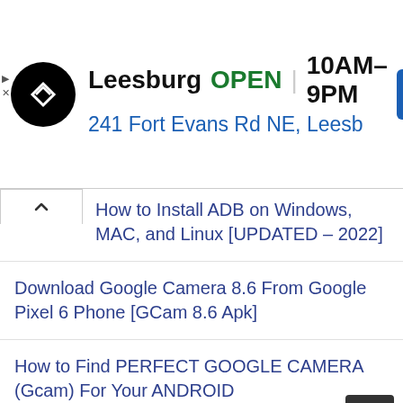[Figure (screenshot): Ad banner for a store in Leesburg showing logo, open status, hours 10AM-9PM, address 241 Fort Evans Rd NE, Leesd, and navigation icon]
How to Install ADB on Windows, MAC, and Linux [UPDATED – 2022]
Download Google Camera 8.6 From Google Pixel 6 Phone [GCam 8.6 Apk]
How to Find PERFECT GOOGLE CAMERA (Gcam) For Your ANDROID
Download Xiaomi Mi Unlock Tool | MIUI Unlock Bootloader Guide
Download Xiaomi Flash Tool [Official Mi Flash Tool]